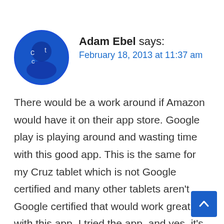[Figure (illustration): Circular avatar image with blue border showing a figure on a blue background, for user Adam Ebel]
Adam Ebel says:
February 18, 2013 at 11:37 am
There would be a work around if Amazon would have it on their app store. Google play is playing around and wasting time with this good app. This is the same for my Cruz tablet which is not Google certified and many other tablets aren't Google certified that would work great with this app. I tried the app, and yes, it's a demo version, but I am